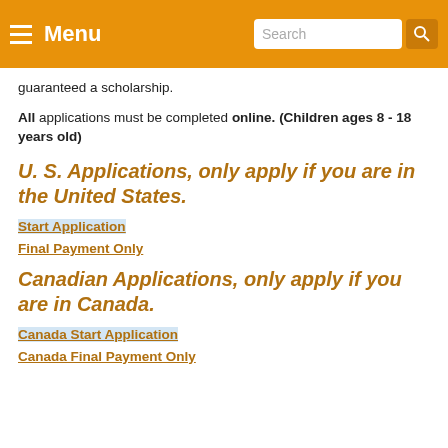Menu | Search
guaranteed a scholarship.
All applications must be completed online. (Children ages 8 - 18 years old)
U. S. Applications, only apply if you are in the United States.
Start Application
Final Payment Only
Canadian Applications, only apply if you are in Canada.
Canada Start Application
Canada Final Payment Only